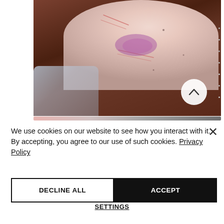[Figure (photo): Close-up photo of a person's torso/shoulder area showing scratch marks and bruising (purple marks). A water bottle is visible in the lower left corner. A circular navigation arrow button is overlaid in the lower right of the image.]
We use cookies on our website to see how you interact with it. By accepting, you agree to our use of such cookies. Privacy Policy
DECLINE ALL
ACCEPT
SETTINGS